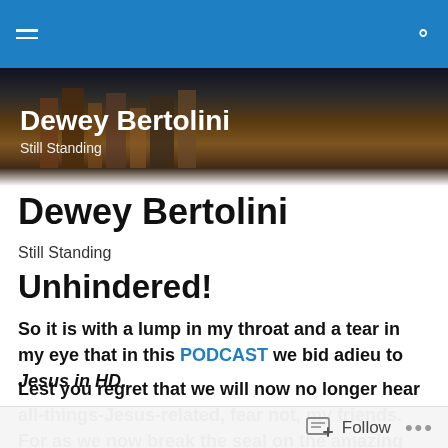Navigation bar with hamburger menu and search icon
[Figure (photo): Dark header image with books in the background, text overlay showing site title and tagline]
Dewey Bertolini
Still Standing
Unhindered!
So it is with a lump in my throat and a tear in my eye that in this PODCAST we bid adieu to Jesus in HD.
Lest you regret that we will now no longer hear all-things-Jesus-related, fear not, my friends. For as we now break the seal on the amazing book of Acts and
Follow ...